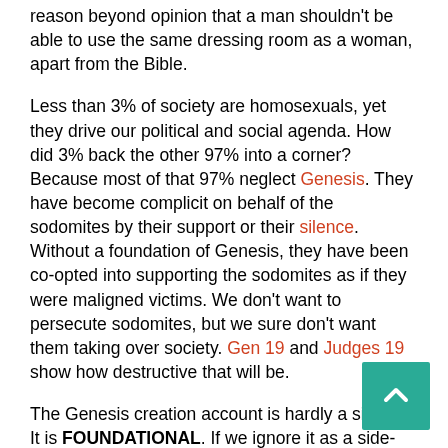reason beyond opinion that a man shouldn't be able to use the same dressing room as a woman, apart from the Bible.
Less than 3% of society are homosexuals, yet they drive our political and social agenda. How did 3% back the other 97% into a corner? Because most of that 97% neglect Genesis. They have become complicit on behalf of the sodomites by their support or their silence. Without a foundation of Genesis, they have been co-opted into supporting the sodomites as if they were maligned victims. We don't want to persecute sodomites, but we sure don't want them taking over society. Gen 19 and Judges 19 show how destructive that will be.
The Genesis creation account is hardly a side- It is FOUNDATIONAL. If we ignore it as a side- we reap the results in our churches and society.